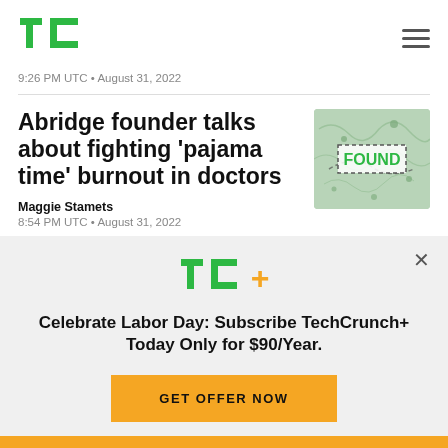TechCrunch logo and navigation
9:26 PM UTC • August 31, 2022
Abridge founder talks about fighting 'pajama time' burnout in doctors
[Figure (illustration): Green illustrated map background with 'FOUND' text in green bold letters inside a dashed white box]
Maggie Stamets
8:54 PM UTC • August 31, 2022
Celebrate Labor Day: Subscribe TechCrunch+ Today Only for $90/Year.
GET OFFER NOW